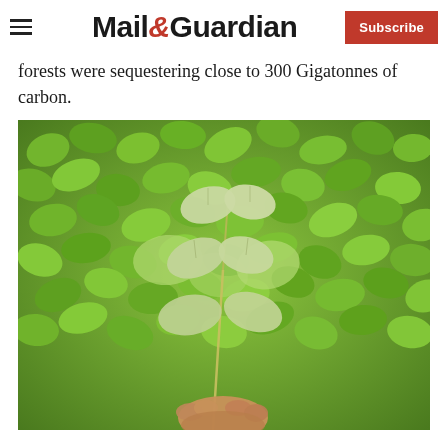Mail&Guardian | Subscribe
forests were sequestering close to 300 Gigatonnes of carbon.
[Figure (photo): Close-up photo of dense green leafy plants with a hand holding a stem with small pale green leaves in the foreground]